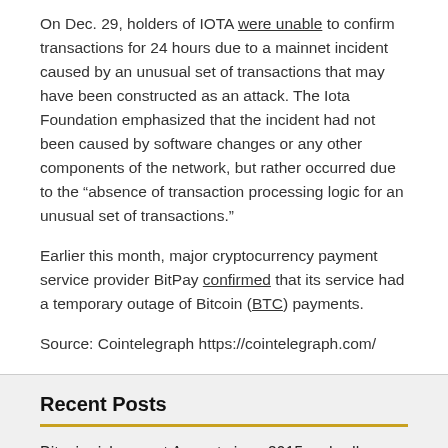On Dec. 29, holders of IOTA were unable to confirm transactions for 24 hours due to a mainnet incident caused by an unusual set of transactions that may have been constructed as an attack. The Iota Foundation emphasized that the incident had not been caused by software changes or any other components of the network, but rather occurred due to the “absence of transaction processing logic for an unusual set of transactions.”
Earlier this month, major cryptocurrency payment service provider BitPay confirmed that its service had a temporary outage of Bitcoin (BTC) payments.
Source: Cointelegraph https://cointelegraph.com/
Recent Posts
Bitcoin risks worst August since 2015 as hodlers